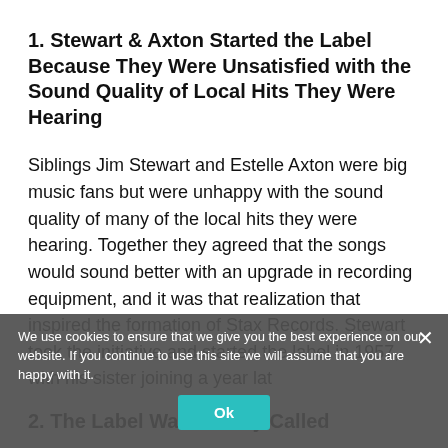1. Stewart & Axton Started the Label Because They Were Unsatisfied with the Sound Quality of Local Hits They Were Hearing
Siblings Jim Stewart and Estelle Axton were big music fans but were unhappy with the sound quality of many of the local hits they were hearing. Together they agreed that the songs would sound better with an upgrade in recording equipment, and it was that realization that inspired the formation of Stax Records. Stewart took the initiative and started the label in 1957, with his sister joining a year lat
2. The Label Was Initially Called
We use cookies to ensure that we give you the best experience on our website. If you continue to use this site we will assume that you are happy with it.